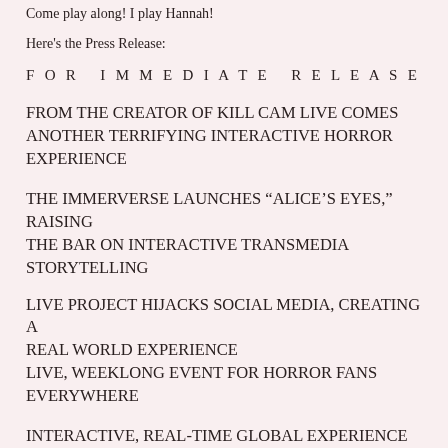Come play along! I play Hannah!
Here's the Press Release:
FOR IMMEDIATE RELEASE
FROM THE CREATOR OF KILL CAM LIVE COMES ANOTHER TERRIFYING INTERACTIVE HORROR EXPERIENCE
THE IMMERVERSE LAUNCHES “ALICE’S EYES,” RAISING THE BAR ON INTERACTIVE TRANSMEDIA STORYTELLING
LIVE PROJECT HIJACKS SOCIAL MEDIA, CREATING A REAL WORLD EXPERIENCE
LIVE, WEEKLONG EVENT FOR HORROR FANS EVERYWHERE
INTERACTIVE, REAL-TIME GLOBAL EXPERIENCE TO BE STREAMING FOR 170 HOURS
LOS ANGELES, CA (February 1, 2013) – With over 3 Million live viewers, audiences from every continent and over 450 hours of